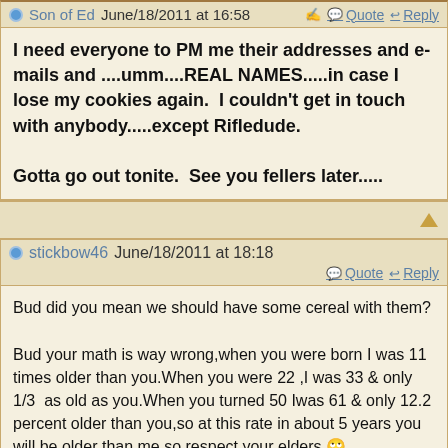Son of Ed June/18/2011 at 16:58  Quote  Reply
I need everyone to PM me their addresses and e-mails and ....umm....REAL NAMES.....in case I lose my cookies again.  I couldn't get in touch with anybody.....except Rifledude.

Gotta go out tonite.  See you fellers later.....
stickbow46 June/18/2011 at 18:18  Quote  Reply
Bud did you mean we should have some cereal with them?

Bud your math is way wrong,when you were born I was 11 times older than you.When you were 22 ,I was 33 & only 1/3  as old as you.When you turned 50 Iwas 61 & only 12.2 percent older than you,so at this rate in about 5 years you will be older than me,so respect your elders.🙄